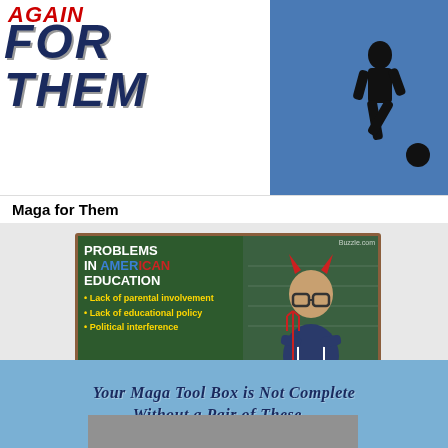[Figure (infographic): Top section showing 'AGAIN / FOR THEM' text in bold italic dark blue with red 'AGAIN' text on white background, and a blue panel with a soccer player silhouette on the right]
Maga for Them
[Figure (infographic): Infographic card with dark green background and brown border titled 'PROBLEMS IN AMERICAN EDUCATION' listing: Lack of parental involvement, Lack of educational policy, Political interference. Right side shows a child with devil horns and glasses. Buzzle.com watermark visible.]
Problems in education
[Figure (infographic): Blue panel with text: YOUR MAGA TOOL BOX IS NOT COMPLETE WITHOUT A PAIR OF THESE... followed by a partial photo at bottom]